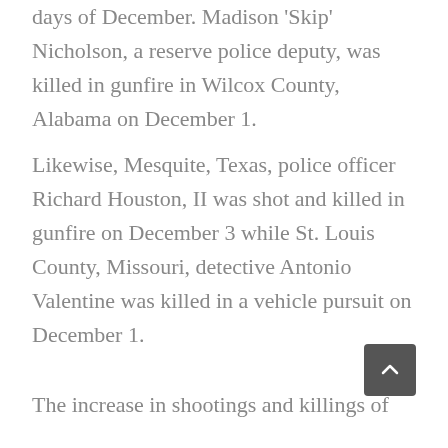days of December. Madison 'Skip' Nicholson, a reserve police deputy, was killed in gunfire in Wilcox County, Alabama on December 1.
Likewise, Mesquite, Texas, police officer Richard Houston, II was shot and killed in gunfire on December 3 while St. Louis County, Missouri, detective Antonio Valentine was killed in a vehicle pursuit on December 1.
The increase in shootings and killings of